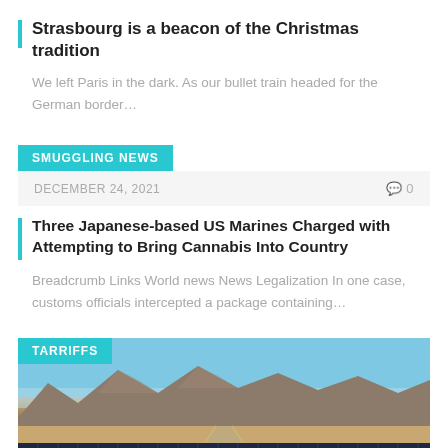Strasbourg is a beacon of the Christmas tradition
We left Paris in the dark. As our bullet train headed for the German border…
SMUGGLING NEWS
DECEMBER 24, 2021
Three Japanese-based US Marines Charged with Attempting to Bring Cannabis Into Country
Breadcrumb Links World news News Legalization In one case, customs officials intercepted a package containing…
TARRIFFS
[Figure (photo): Desert landscape with mountains in background and solar panels in foreground]